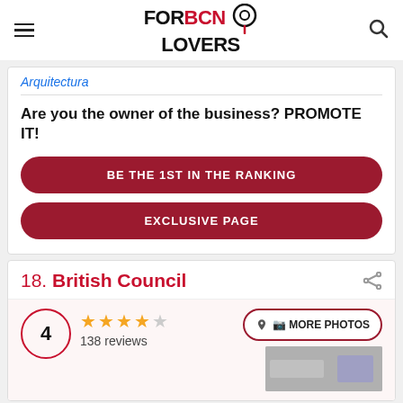FORBCN LOVERS
Arquitectura
Are you the owner of the business? PROMOTE IT!
BE THE 1ST IN THE RANKING
EXCLUSIVE PAGE
18. British Council
4
138 reviews
MORE PHOTOS